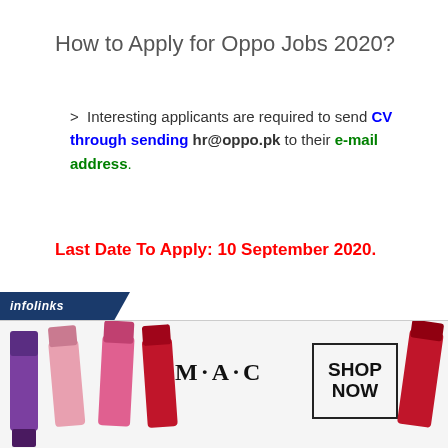How to Apply for Oppo Jobs 2020?
Interesting applicants are required to send CV through sending hr@oppo.pk to their e-mail address.
Last Date To Apply: 10 September 2020.
[Figure (infographic): Infolinks advertisement banner with MAC cosmetics lipstick products and SHOP NOW button]